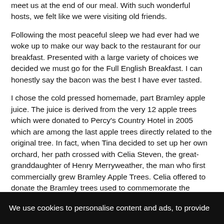meet us at the end of our meal.  With such wonderful hosts, we felt like we were visiting old friends.
Following the most peaceful sleep we had ever had we woke up to make our way back to the restaurant for our breakfast.  Presented with a large variety of choices we decided we must go for the Full English Breakfast.  I can honestly say the bacon was the best I have ever tasted.
I chose the cold pressed homemade, part Bramley apple juice.  The juice is derived from the very 12 apple trees which were donated to Percy's Country Hotel in 2005 which are among the last apple trees directly related to the original tree. In fact, when Tina decided to set up her own orchard, her path crossed with Celia Steven, the great-granddaughter of Henry Merryweather, the man who first commercially grew Bramley Apple Trees. Celia offered to donate the Bramley trees used to commemorate the bicentenary of the Bramley Apple, which was celebrated in 2009. Celia is delighted to have
We use cookies to personalise content and ads, to provide